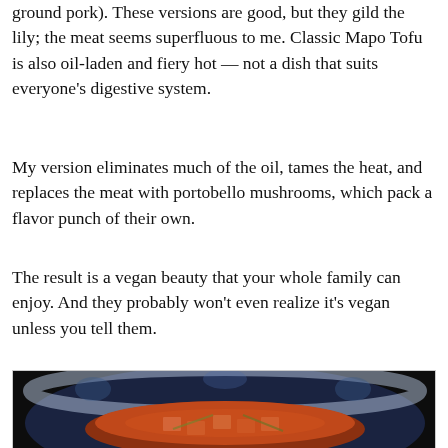ground pork). These versions are good, but they gild the lily; the meat seems superfluous to me. Classic Mapo Tofu is also oil-laden and fiery hot — not a dish that suits everyone's digestive system.
My version eliminates much of the oil, tames the heat, and replaces the meat with portobello mushrooms, which pack a flavor punch of their own.
The result is a vegan beauty that your whole family can enjoy. And they probably won't even realize it's vegan unless you tell them.
[Figure (photo): A blue and white floral-patterned bowl containing Mapo Tofu — cubes of tofu in a reddish-brown spicy sauce with green onions, photographed from above on a dark background.]